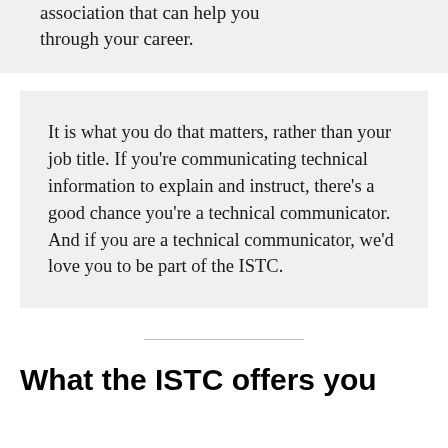association that can help you through your career.
It is what you do that matters, rather than your job title. If you're communicating technical information to explain and instruct, there's a good chance you're a technical communicator. And if you are a technical communicator, we'd love you to be part of the ISTC.
What the ISTC offers you